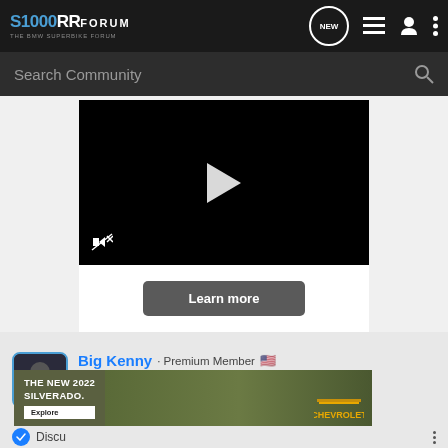S1000RR FORUM - THE BMW SUPERBIKE FORUM
Search Community
[Figure (screenshot): Video player with black background, white play button triangle in center, muted speaker icon in bottom left. Below: white area with dark 'Learn more' button.]
Big Kenny · Premium Member 🇺🇸
2022 BMW S1000RR M Package
Joined Apr 2, 2022 · 54 Posts
[Figure (advertisement): Chevrolet advertisement for The New 2022 Silverado with an Explore button and Chevrolet logo on right side.]